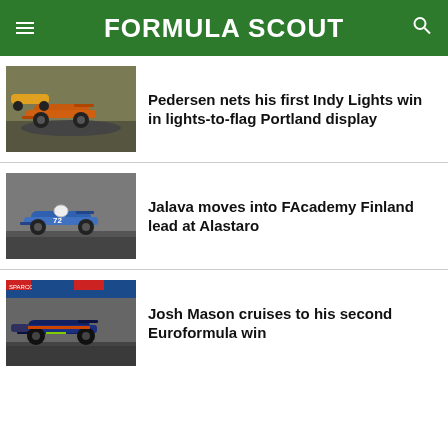FORMULA SCOUT
Pedersen nets his first Indy Lights win in lights-to-flag Portland display
Jalava moves into FAcademy Finland lead at Alastaro
Josh Mason cruises to his second Euroformula win